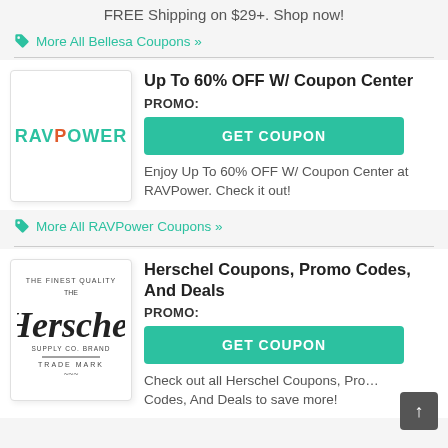FREE Shipping on $29+. Shop now!
🏷 More All Bellesa Coupons »
Up To 60% OFF W/ Coupon Center
PROMO:
GET COUPON
Enjoy Up To 60% OFF W/ Coupon Center at RAVPower. Check it out!
🏷 More All RAVPower Coupons »
Herschel Coupons, Promo Codes, And Deals
PROMO:
GET COUPON
Check out all Herschel Coupons, Promo Codes, And Deals to save more!